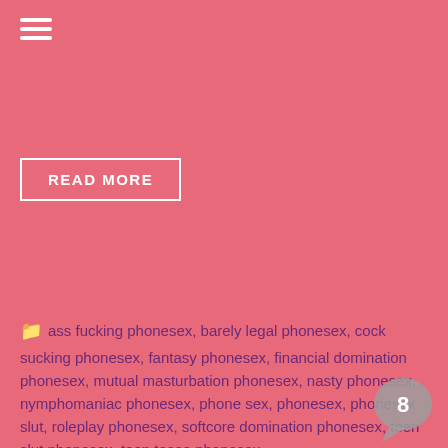[Figure (other): Hamburger menu icon (three white horizontal lines) in top left corner]
READ MORE
ass fucking phonesex, barely legal phonesex, cock sucking phonesex, fantasy phonesex, financial domination phonesex, mutual masturbation phonesex, nasty phonesex, nymphomaniac phonesex, phone sex, phonesex, phonesex slut, roleplay phonesex, softcore domination phonesex, teen slut phonesex, teen tease phonesex
Ageplay phone sex, Anal phone sex, best blowjob phonesex, cum hard phone sex, daddy daughter phonesex, Homewrecker phonesex, hot blonde, Princess Rhianna, teen tease, wet panty phone sex, Wicked Rhianna
[Figure (other): Speech bubble icon with number 8 inside, gray color, bottom right corner]